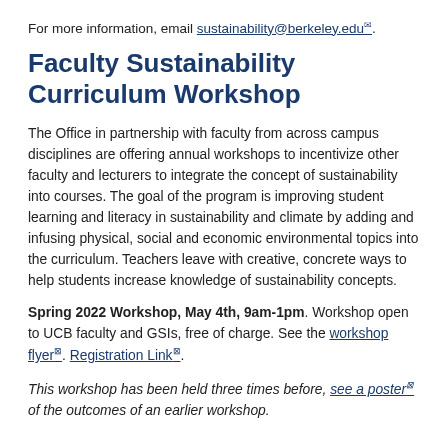For more information, email sustainability@berkeley.edu.
Faculty Sustainability Curriculum Workshop
The Office in partnership with faculty from across campus disciplines are offering annual workshops to incentivize other faculty and lecturers to integrate the concept of sustainability into courses. The goal of the program is improving student learning and literacy in sustainability and climate by adding and infusing physical, social and economic environmental topics into the curriculum. Teachers leave with creative, concrete ways to help students increase knowledge of sustainability concepts.
Spring 2022 Workshop, May 4th, 9am-1pm. Workshop open to UCB faculty and GSIs, free of charge. See the workshop flyer. Registration Link.
This workshop has been held three times before, see a poster of the outcomes of an earlier workshop.